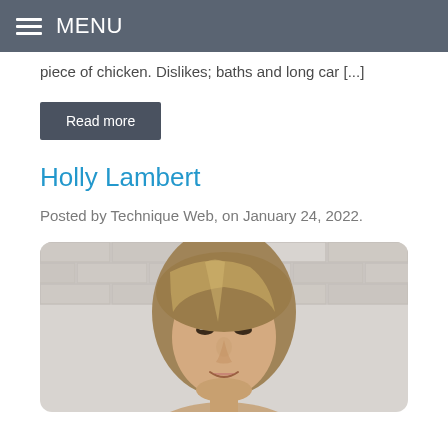MENU
piece of chicken. Dislikes; baths and long car [...]
Read more
Holly Lambert
Posted by Technique Web, on January 24, 2022.
[Figure (photo): Portrait photo of Holly Lambert, a woman with blonde/light brown shoulder-length hair, smiling slightly, standing in front of a white painted brick wall]